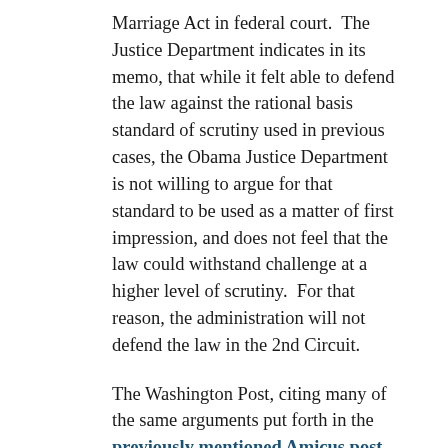Marriage Act in federal court.  The Justice Department indicates in its memo, that while it felt able to defend the law against the rational basis standard of scrutiny used in previous cases, the Obama Justice Department is not willing to argue for that standard to be used as a matter of first impression, and does not feel that the law could withstand challenge at a higher level of scrutiny.  For that reason, the administration will not defend the law in the 2nd Circuit.
The Washington Post, citing many of the same arguments put forth in the previously mentioned Amicus post, calls the move risky.  The precedent that the Obama administration is setting may come back to haunt it, and haunt progressives generally, particularly as concerns the potential constitutionality of Obama’s signature health care bill.